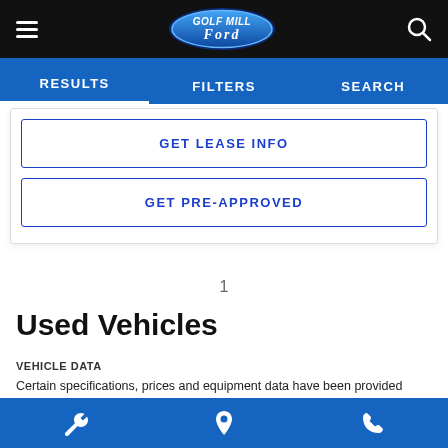Golf Mill Ford - navigation header with hamburger menu, logo, and search icon
RESULTS | FILTERS | SEARCH
GET LEASE INFO
GET PRE-APPROVED
1
Used Vehicles
VEHICLE DATA
Certain specifications, prices and equipment data have been provided under license from Chrome Data Solutions (\'Chrome Data\'). © 2022 Chrome Data Solutions, LP. All Rights Reserved. This
Wrench icon | Location pin icon | Phone icon